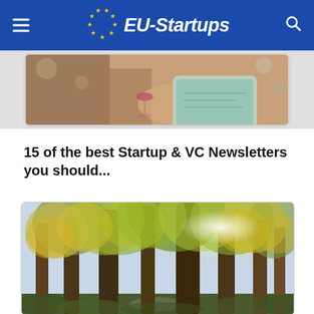EU-Startups
[Figure (photo): Person using a tablet/phone at a table, blurred background]
15 of the best Startup & VC Newsletters you should...
[Figure (photo): Autumn forest scene with tall trees, sunlight filtering through green and yellow foliage]